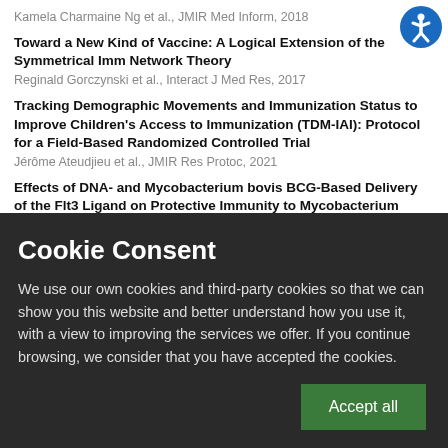Kamela Charmaine Ng et al., JMIR Med Inform, 2018
Toward a New Kind of Vaccine: A Logical Extension of the Symmetrical Immune Network Theory
Reginald Gorczynski et al., Interact J Med Res, 2017
Tracking Demographic Movements and Immunization Status to Improve Children's Access to Immunization (TDM-IAI): Protocol for a Field-Based Randomized Controlled Trial
Jérôme Ateudjieu et al., JMIR Res Protoc, 2021
Effects of DNA- and Mycobacterium bovis BCG-Based Delivery of the Flt3 Ligand on Protective Immunity to Mycobacterium tuberculosis Infection and
Cookie Consent
We use our own cookies and third-party cookies so that we can show you this website and better understand how you use it, with a view to improving the services we offer. If you continue browsing, we consider that you have accepted the cookies.